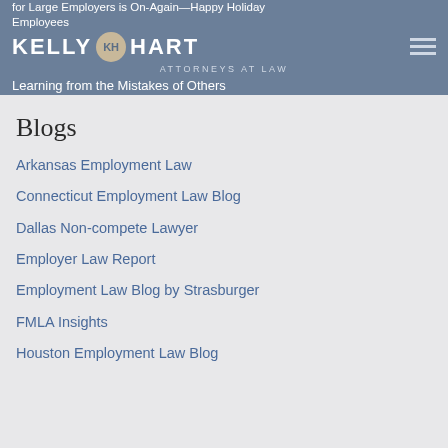for Large Employers is On-Again—Happy Holiday Employees
KELLY KH HART ATTORNEYS AT LAW
Learning from the Mistakes of Others
Blogs
Arkansas Employment Law
Connecticut Employment Law Blog
Dallas Non-compete Lawyer
Employer Law Report
Employment Law Blog by Strasburger
FMLA Insights
Houston Employment Law Blog